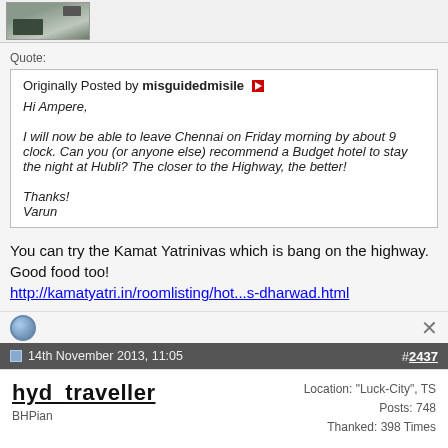[Figure (photo): Avatar thumbnail image of a user, showing a dark greenish outdoor scene with a car partially visible]
Quote:
Originally Posted by misguidedmisile
Hi Ampere,

I will now be able to leave Chennai on Friday morning by about 9 clock. Can you (or anyone else) recommend a Budget hotel to stay the night at Hubli? The closer to the Highway, the better!

Thanks!
Varun
You can try the Kamat Yatrinivas which is bang on the highway. Good food too!
http://kamatyatri.in/roomlisting/hot...s-dharwad.html
14th November 2013, 11:05   #2437
hyd_traveller
BHPian
Location: "Luck-City", TS
Posts: 748
Thanked: 398 Times